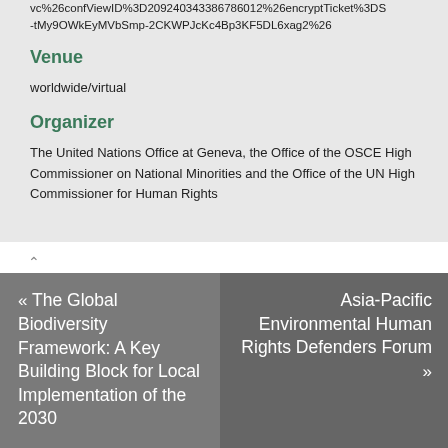vc%26confViewID%3D209240343386786012%26encryptTicket%3DS-tMy9OWkEyMVbSmp-2CKWPJcKc4Bp3KF5DL6xag2%26
Venue
worldwide/virtual
Organizer
The United Nations Office at Geneva, the Office of the OSCE High Commissioner on National Minorities and the Office of the UN High Commissioner for Human Rights
« The Global Biodiversity Framework: A Key Building Block for Local Implementation of the 2030
Asia-Pacific Environmental Human Rights Defenders Forum »